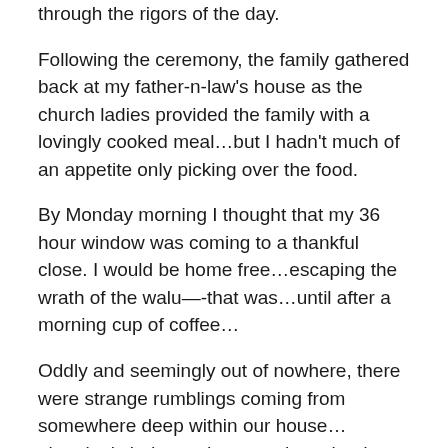through the rigors of the day.
Following the ceremony, the family gathered back at my father-n-law's house as the church ladies provided the family with a lovingly cooked meal…but I hadn't much of an appetite only picking over the food.
By Monday morning I thought that my 36 hour window was coming to a thankful close. I would be home free…escaping the wrath of the walu—-that was…until after a morning cup of coffee…
Oddly and seemingly out of nowhere, there were strange rumblings coming from somewhere deep within our house…alarmingly it dawned on me, those loud rumblings were coming from somewhere deep within my own gut….and they weren't rumblings of hunger….
Later in the morning, I managed to call my husband, who